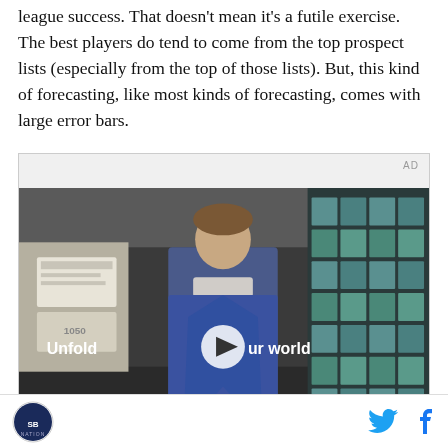league success. That doesn't mean it's a futile exercise. The best players do tend to come from the top prospect lists (especially from the top of those lists). But, this kind of forecasting, like most kinds of forecasting, comes with large error bars.
[Figure (other): Advertisement video player showing a young man in a denim jacket standing in front of a building with teal window grid panels. Overlay text reads 'Unfold your world' with a play button. AD label in top right corner.]
Site logo, Twitter icon, Facebook icon